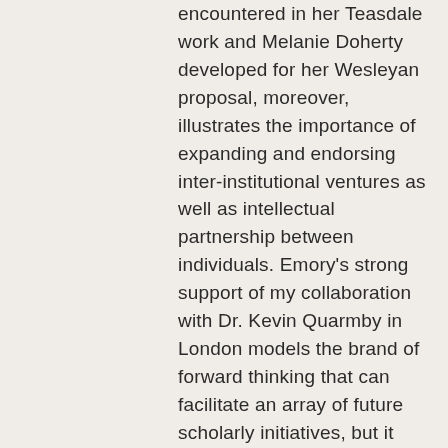encountered in her Teasdale work and Melanie Doherty developed for her Wesleyan proposal, moreover, illustrates the importance of expanding and endorsing inter-institutional ventures as well as intellectual partnership between individuals. Emory's strong support of my collaboration with Dr. Kevin Quarmby in London models the brand of forward thinking that can facilitate an array of future scholarly initiatives, but it also demonstrates the value of shared innovation and the benefit of deliberate cooperation betweendiverse practical and intellectual goals. As our World Shakespeare Project and related endeavors have evolved, we have received practical support from many faculty, staff, and administrators working